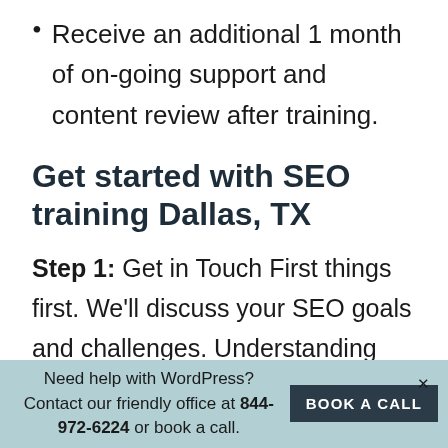Receive an additional 1 month of on-going support and content review after training.
Get started with SEO training Dallas, TX
Step 1: Get in Touch First things first. We'll discuss your SEO goals and challenges. Understanding what you want to accomplish helps me customize your SEO training for your unique needs. This first conversation
Need help with WordPress? Contact our friendly office at 844-972-6224 or book a call. BOOK A CALL